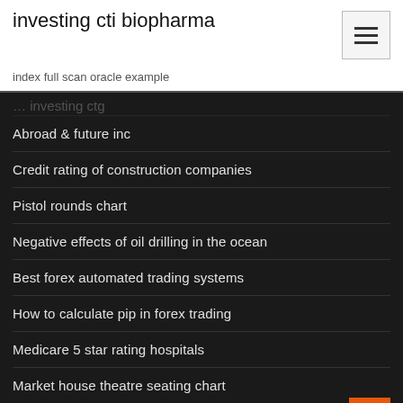investing cti biopharma
index full scan oracle example
Abroad & future inc
Credit rating of construction companies
Pistol rounds chart
Negative effects of oil drilling in the ocean
Best forex automated trading systems
How to calculate pip in forex trading
Medicare 5 star rating hospitals
Market house theatre seating chart
Haircut stockton
Spx index options prices